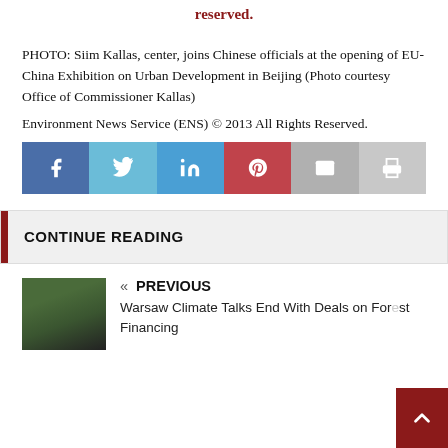reserved.
PHOTO: Siim Kallas, center, joins Chinese officials at the opening of EU-China Exhibition on Urban Development in Beijing (Photo courtesy Office of Commissioner Kallas)
Environment News Service (ENS) © 2013 All Rights Reserved.
[Figure (infographic): Social sharing bar with Facebook, Twitter, LinkedIn, Pinterest, Email, and Print buttons]
CONTINUE READING
[Figure (photo): Thumbnail image of crowd at Warsaw Climate Talks]
« PREVIOUS
Warsaw Climate Talks End With Deals on Forest Financing